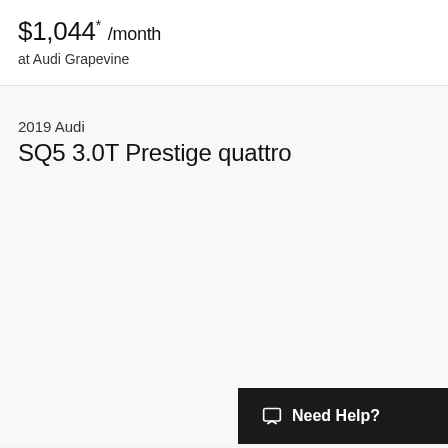$1,044* /month
at Audi Grapevine
2019 Audi
SQ5 3.0T Prestige quattro
Need Help?